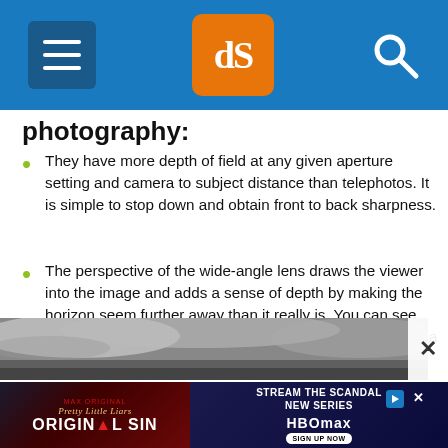dPS (digital Photography School) header navigation
photography:
They have more depth of field at any given aperture setting and camera to subject distance than telephotos. It is simple to stop down and obtain front to back sharpness.
The perspective of the wide-angle lens draws the viewer into the image and adds a sense of depth by making the horizon seem further away than it really is. You can see the effect in this landscape taken with a zoom lens set to a focal length of 26mm:
[Figure (photo): A black and white landscape photograph showing cloudy sky and terrain, partially visible]
[Figure (photo): Advertisement for Pretty Little Liars Original Sin on HBO Max - Stream the Scandalous New Series]